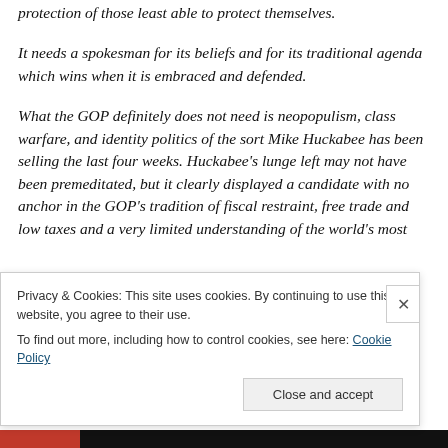protection of those least able to protect themselves.
It needs a spokesman for its beliefs and for its traditional agenda which wins when it is embraced and defended.
What the GOP definitely does not need is neopopulism, class warfare, and identity politics of the sort Mike Huckabee has been selling the last four weeks. Huckabee’s lunge left may not have been premeditated, but it clearly displayed a candidate with no anchor in the GOP’s tradition of fiscal restraint, free trade and low taxes and a very limited understanding of the world’s most
Privacy & Cookies: This site uses cookies. By continuing to use this website, you agree to their use.
To find out more, including how to control cookies, see here: Cookie Policy
Close and accept